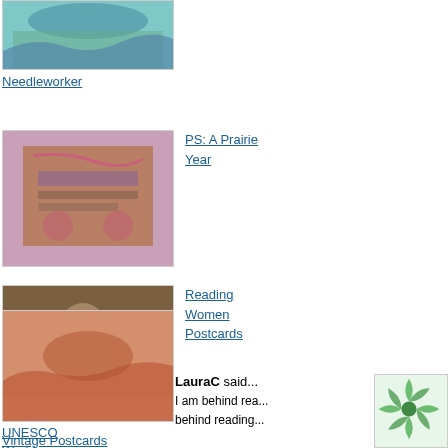[Figure (photo): Needlework or textile art thumbnail at top left, partial view]
Needleworker
[Figure (photo): Cross-stitch embroidery on a book cover - PS: A Prairie Year]
PS: A Prairie Year
[Figure (photo): Painting of a woman reading - Reading Women Postcards]
Reading Women Postcards
[Figure (photo): Mountain/desert landscape postcard - UNESCO World Heritage Postcards]
UNESCO World Heritage Postcards
Vintage Postcards
Reply
Septe...
Danielle said in r...
Thank... as I w... get th... audio... when... being... read t... now--... take c... seco...
Reply
Septe...
LauraC said...
I am behind rea... behind reading...